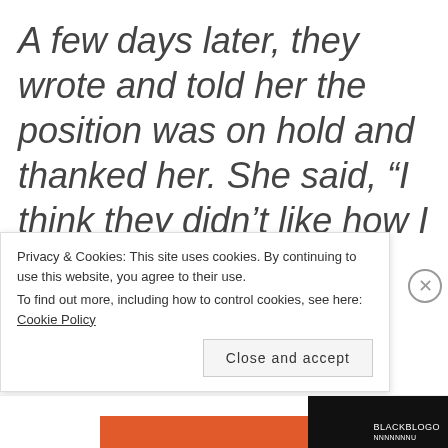A few days later, they wrote and told her the position was on hold and thanked her. She said, “I think they didn’t like how I looked.”  Now, I don’t know what happened. I do
Privacy & Cookies: This site uses cookies. By continuing to use this website, you agree to their use.
To find out more, including how to control cookies, see here: Cookie Policy
Close and accept